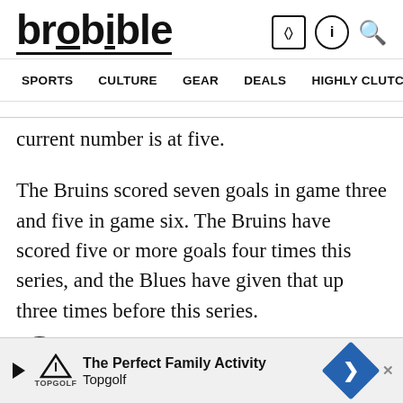brobible — SPORTS  CULTURE  GEAR  DEALS  HIGHLY CLUTCH  SHOP
current number is at five.
The Bruins scored seven goals in game three and five in game six. The Bruins have scored five or more goals four times this series, and the Blues have given that up three times before this series.
Like most of the Boston victories in this series, their offensive power could lead to an abund...
[Figure (other): Advertisement banner: The Perfect Family Activity — Topgolf]
The Perfect Family Activity — Topgolf